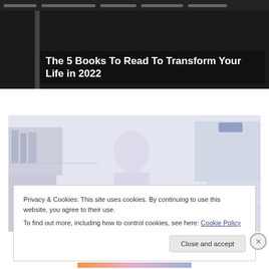[Figure (screenshot): Navigation bar with dark background and menu items]
The 5 Books To Read To Transform Your Life in 2022
[Figure (photo): Faded/washed out photo of people in a crowd or bookstore setting]
Privacy & Cookies: This site uses cookies. By continuing to use this website, you agree to their use.
To find out more, including how to control cookies, see here: Cookie Policy
Close and accept